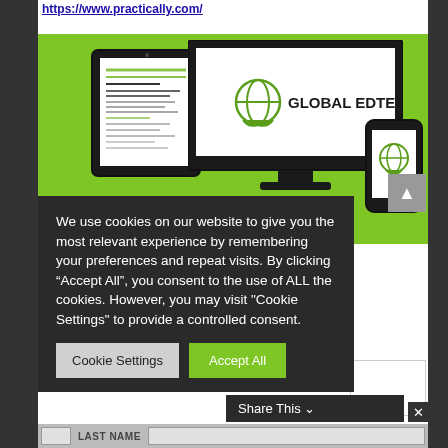https://www.practically.com/
[Figure (screenshot): Screenshot of Practically / Global EdTech website with green background showing multiple devices (tablet, monitor, phone) displaying the Global EdTech logo. A cookie consent overlay is visible with cookie settings and accept all buttons.]
We use cookies on our website to give you the most relevant experience by remembering your preferences and repeat visits. By clicking “Accept All”, you consent to the use of ALL the cookies. However, you may visit “Cookie Settings” to provide a controlled consent.
Cookie Settings
Accept All
Share This ⌄
LAST NAME